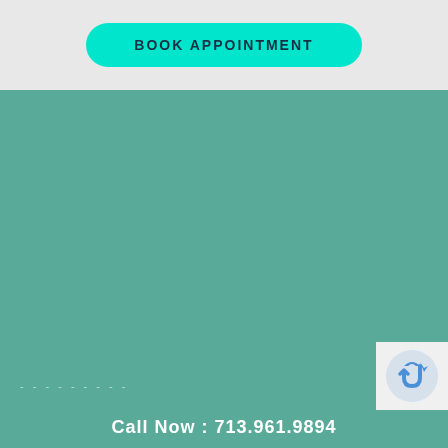[Figure (screenshot): Book Appointment button - teal/cyan rounded rectangle button with text BOOK APPOINTMENT]
[Figure (screenshot): Large teal/green background section filling most of the page]
Call Now : 713.961.9894
[Figure (logo): reCAPTCHA badge in bottom right corner showing the reCAPTCHA logo]